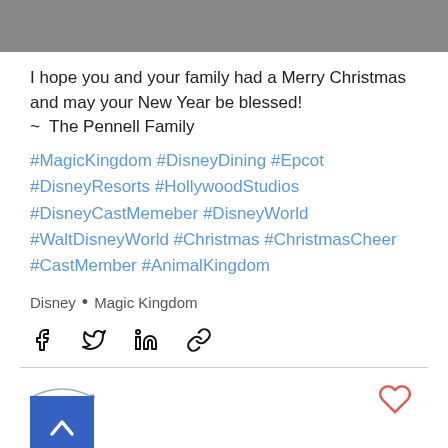[Figure (photo): Grayscale photo strip at top of page]
I hope you and your family had a Merry Christmas and may your New Year be blessed!
~ The Pennell Family
#MagicKingdom #DisneyDining #Epcot #DisneyResorts #HollywoodStudios #DisneyCastMemeber #DisneyWorld #WaltDisneyWorld #Christmas #ChristmasCheer #CastMember #AnimalKingdom
Disney • Magic Kingdom
[Figure (infographic): Social share icons: Facebook, Twitter, LinkedIn, link]
[Figure (infographic): Back to top button (blue square with chevron up) and heart icon]